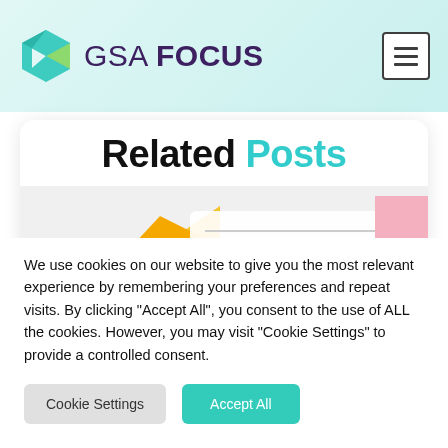[Figure (logo): GSA Focus logo with hexagon icon and text]
Related Posts
[Figure (illustration): Decorative illustration with colorful shapes and a 'GSA CONTRACT' badge]
We use cookies on our website to give you the most relevant experience by remembering your preferences and repeat visits. By clicking "Accept All", you consent to the use of ALL the cookies. However, you may visit "Cookie Settings" to provide a controlled consent.
Cookie Settings    Accept All